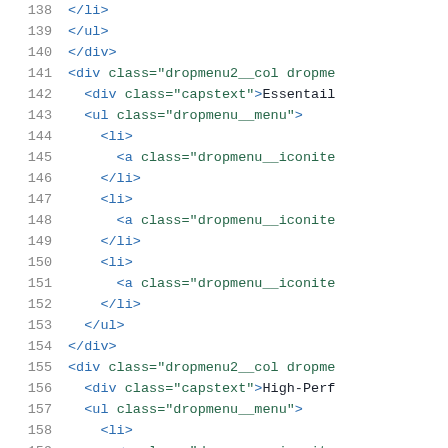[Figure (screenshot): Source code editor screenshot showing HTML code lines 138-159 with syntax highlighting. Line numbers on the left in gray, HTML tags in blue, attribute names and values in green.]